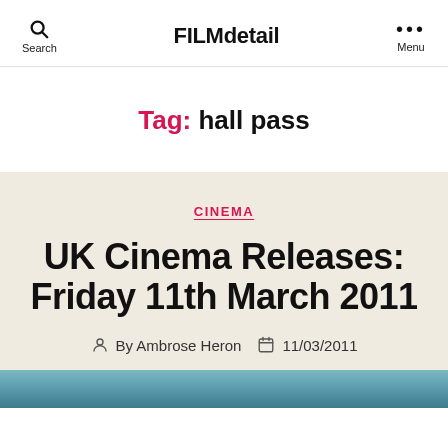FILMdetail
Tag: hall pass
CINEMA
UK Cinema Releases: Friday 11th March 2011
By Ambrose Heron  11/03/2011